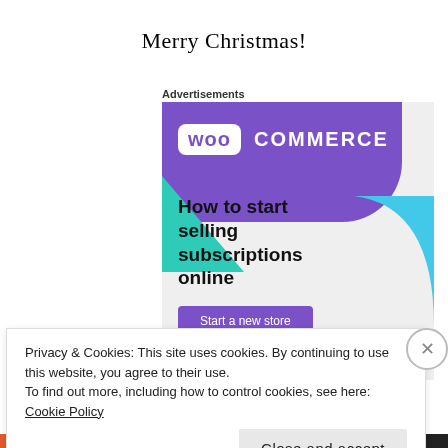Merry Christmas!
Advertisements
[Figure (illustration): WooCommerce advertisement banner showing purple logo banner, green triangle, cyan quarter circle, headline 'How to start selling subscriptions online', and a 'Start a new store' button on a light grey background.]
Privacy & Cookies: This site uses cookies. By continuing to use this website, you agree to their use.
To find out more, including how to control cookies, see here: Cookie Policy
Close and accept